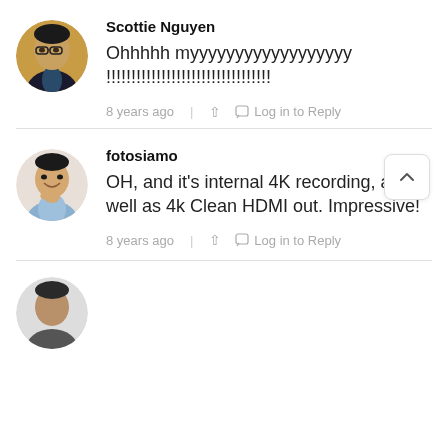[Figure (photo): Profile photo of Scottie Nguyen - man with glasses in dark blazer against yellow background, circular crop]
Scottie Nguyen
Ohhhhh myyyyyyyyyyyyyyyyyy !!!!!!!!!!!!!!!!!!!!!!!!!!!!!!!!!
8 years ago   |   Log in to Reply
[Figure (photo): Profile photo of fotosiamo - smiling Asian man in light blue shirt, circular crop]
fotosiamo
OH, and it’s internal 4K recording, as well as 4k Clean HDMI out. Impressive!
8 years ago   |   Log in to Reply
[Figure (photo): Partial profile photo at bottom of page, circular crop, partially visible]